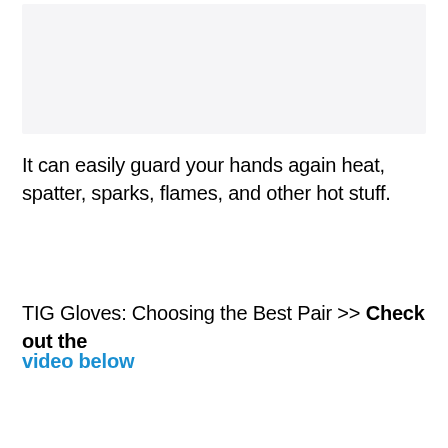[Figure (photo): Image placeholder / photo at top of page]
It can easily guard your hands again heat, spatter, sparks, flames, and other hot stuff.
TIG Gloves: Choosing the Best Pair >> Check out the video below